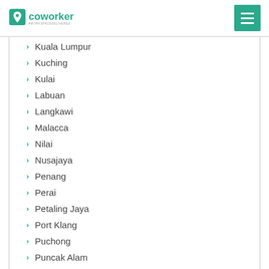coworker #WORKSPACEDELIVERED
Kuala Lumpur
Kuching
Kulai
Labuan
Langkawi
Malacca
Nilai
Nusajaya
Penang
Perai
Petaling Jaya
Port Klang
Puchong
Puncak Alam
Putrajaya